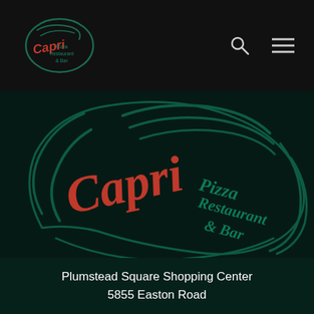[Figure (logo): Capri Pizza Restaurant & Bar logo in header navigation bar on dark background]
[Figure (logo): Large Capri Pizza Restaurant & Bar logo centered on dark green background with stylized pizza graphic and red italic text reading Capri and green text reading Pizza Restaurant & Bar]
Plumstead Square Shopping Center
5855 Easton Road